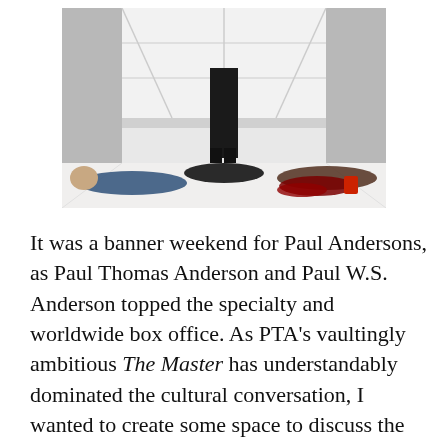[Figure (photo): A scene showing a person in black standing over several people lying on a reflective white floor, with what appears to be a dark red liquid spilled nearby. The setting appears to be a bright, geometric white interior space.]
It was a banner weekend for Paul Andersons, as Paul Thomas Anderson and Paul W.S. Anderson topped the specialty and worldwide box office. As PTA's vaultingly ambitious The Master has understandably dominated the cultural conversation, I wanted to create some space to discuss the ever-workmanlike W.S. One of the few directors to fully embrace 3D, creating dazzling depth effects on half the budget of